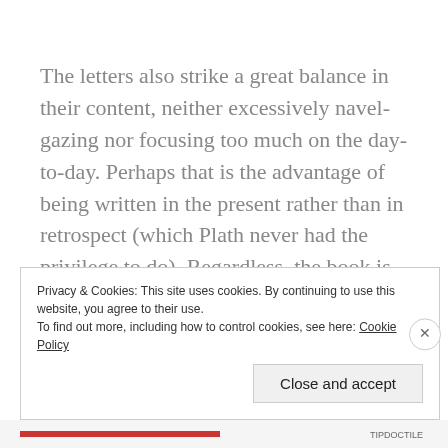The letters also strike a great balance in their content, neither excessively navel-gazing nor focusing too much on the day-to-day. Perhaps that is the advantage of being written in the present rather than in retrospect (which Plath never had the privilege to do). Regardless, the book is satisfyingly readable — I've near read a non-fiction book with such ease.
I ... the book ... Plath ... in the
Privacy & Cookies: This site uses cookies. By continuing to use this website, you agree to their use.
To find out more, including how to control cookies, see here: Cookie Policy
Close and accept